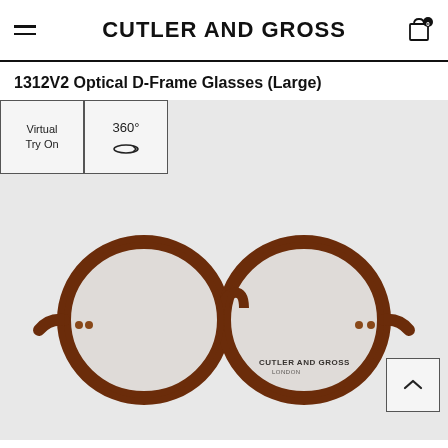CUTLER AND GROSS
1312V2 Optical D-Frame Glasses (Large)
[Figure (screenshot): Product page showing tortoiseshell D-frame glasses (1312V2) on a light grey background, with Virtual Try On and 360° view buttons, and a navigation up-arrow button in the bottom right corner.]